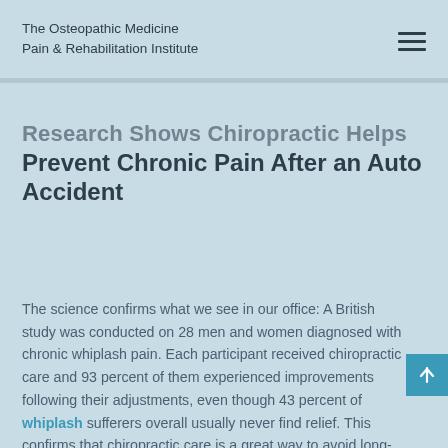The Osteopathic Medicine Pain & Rehabilitation Institute
Research Shows Chiropractic Helps Prevent Chronic Pain After an Auto Accident
The science confirms what we see in our office: A British study was conducted on 28 men and women diagnosed with chronic whiplash pain. Each participant received chiropractic care and 93 percent of them experienced improvements following their adjustments, even though 43 percent of whiplash sufferers overall usually never find relief. This confirms that chiropractic care is a great way to avoid long-term pain after an auto injury.